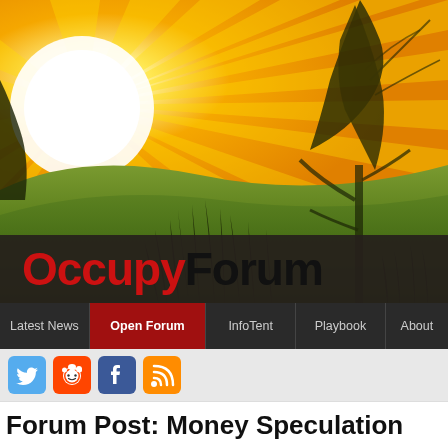[Figure (illustration): Website header banner: warm orange sky with radiating sun rays and large white sun disc, silhouetted trees and grass on rolling green hills]
OccupyForum
Latest News | Open Forum | InfoTent | Playbook | About
[Figure (infographic): Social media icons: Twitter (blue bird), Reddit (orange alien), Facebook (blue f), RSS (orange feed icon)]
Forum Post: Money Speculation